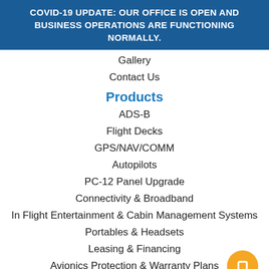COVID-19 UPDATE: OUR OFFICE IS OPEN AND BUSINESS OPERATIONS ARE FUNCTIONING NORMALLY.
Gallery
Contact Us
Products
ADS-B
Flight Decks
GPS/NAV/COMM
Autopilots
PC-12 Panel Upgrade
Connectivity & Broadband
In Flight Entertainment & Cabin Management Systems
Portables & Headsets
Leasing & Financing
Avionics Protection & Warranty Plans
Service
AOC